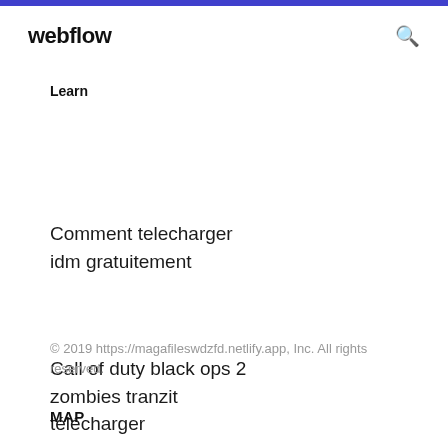webflow
Learn
Comment telecharger idm gratuitement
Call of duty black ops 2 zombies tranzit télécharger
© 2019 https://magafileswdzfd.netlify.app, Inc. All rights reserved.
MAP